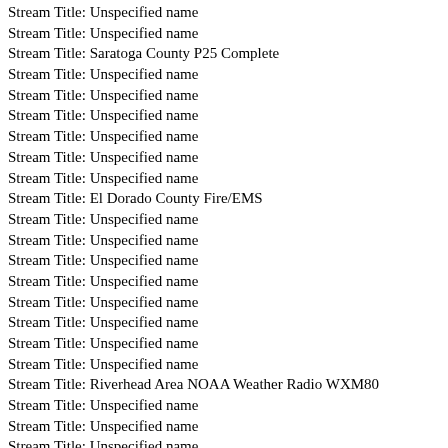Stream Title: Unspecified name
Stream Title: Unspecified name
Stream Title: Saratoga County P25 Complete
Stream Title: Unspecified name
Stream Title: Unspecified name
Stream Title: Unspecified name
Stream Title: Unspecified name
Stream Title: Unspecified name
Stream Title: Unspecified name
Stream Title: El Dorado County Fire/EMS
Stream Title: Unspecified name
Stream Title: Unspecified name
Stream Title: Unspecified name
Stream Title: Unspecified name
Stream Title: Unspecified name
Stream Title: Unspecified name
Stream Title: Unspecified name
Stream Title: Unspecified name
Stream Title: Riverhead Area NOAA Weather Radio WXM80
Stream Title: Unspecified name
Stream Title: Unspecified name
Stream Title: Unspecified name
Stream Title: Armstrong
Stream Title: Unspecified name
Stream Title: Unspecified name
Stream Title: Unspecified name